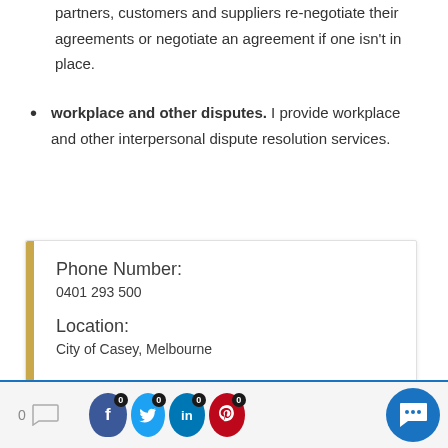partners, customers and suppliers re-negotiate their agreements or negotiate an agreement if one isn't in place.
workplace and other disputes. I provide workplace and other interpersonal dispute resolution services.
Phone Number:
0401 293 500
Location:
City of Casey, Melbourne